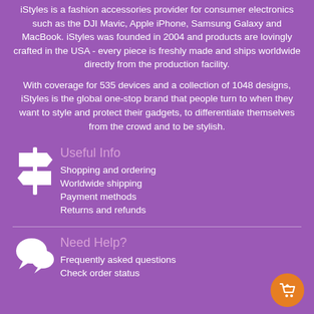iStyles is a fashion accessories provider for consumer electronics such as the DJI Mavic, Apple iPhone, Samsung Galaxy and MacBook. iStyles was founded in 2004 and products are lovingly crafted in the USA - every piece is freshly made and ships worldwide directly from the production facility.
With coverage for 535 devices and a collection of 1048 designs, iStyles is the global one-stop brand that people turn to when they want to style and protect their gadgets, to differentiate themselves from the crowd and to be stylish.
Useful Info
Shopping and ordering
Worldwide shipping
Payment methods
Returns and refunds
Need Help?
Frequently asked questions
Check order status